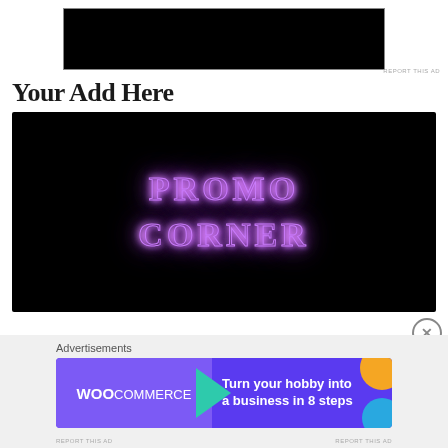[Figure (screenshot): Top advertisement area with black rectangle ad box on white background]
REPORT THIS AD
Your Add Here
[Figure (screenshot): Black banner image with glowing purple neon text reading PROMO CORNER in two lines on black background]
Advertisements
[Figure (screenshot): WooCommerce purple banner advertisement: Turn your hobby into a business in 8 steps, with teal triangle, orange circle, and blue circle decorations]